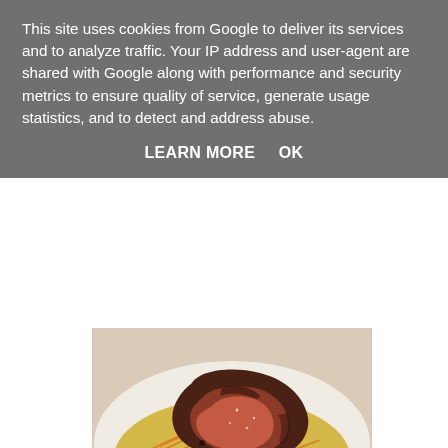This site uses cookies from Google to deliver its services and to analyze traffic. Your IP address and user-agent are shared with Google along with performance and security metrics to ensure quality of service, generate usage statistics, and to detect and address abuse.
LEARN MORE    OK
[Figure (photo): A plate of food showing a large piece of roasted/seared beef placed on top of shredded orange carrots and yellow rice on a white plate.]
Look how moist and tender that beef looks. If you're going to buy a good joint of meat, whether large or small, you really